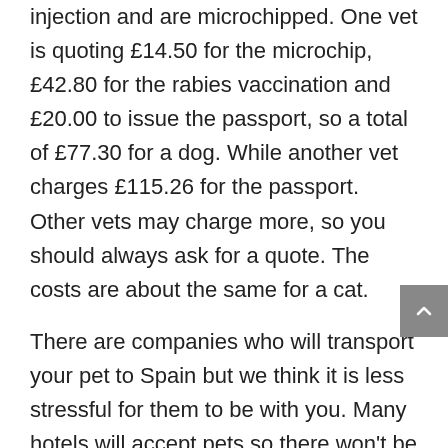injection and are microchipped. One vet is quoting £14.50 for the microchip, £42.80 for the rabies vaccination and £20.00 to issue the passport, so a total of £77.30 for a dog. While another vet charges £115.26 for the passport.  Other vets may charge more, so you should always ask for a quote. The costs are about the same for a cat.
There are companies who will transport your pet to Spain but we think it is less stressful for them to be with you. Many hotels will accept pets so there won't be any problems when you drive over with them (ensure you pre-book these in advance). The ferries have kennels at the top of the ship and some have pet-friendly